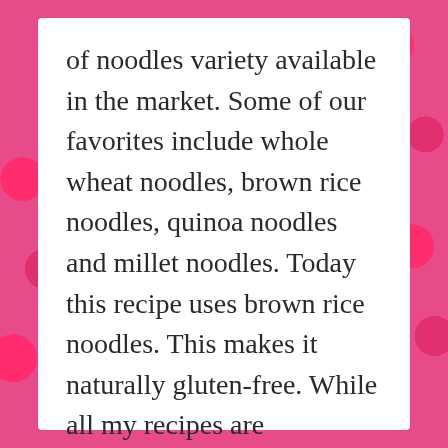of noodles variety available in the market. Some of our favorites include whole wheat noodles, brown rice noodles, quinoa noodles and millet noodles. Today this recipe uses brown rice noodles. This makes it naturally gluten-free. While all my recipes are vegetarian, this one is also vegan.